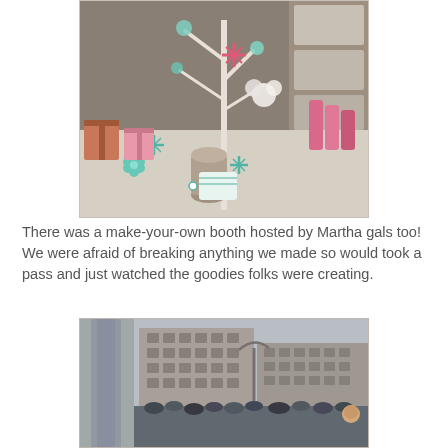[Figure (photo): A craft booth table covered with holiday decorations including snowflakes, flowers, and colorful wrapped gifts and ribbons, resembling a Martha Stewart craft display.]
There was a make-your-own booth hosted by Martha gals too!  We were afraid of breaking anything we made so would took a pass and just watched the goodies folks were creating.
[Figure (photo): A city street scene with a crowd of people walking on a sidewalk, tall brick buildings in the background, and street lamps visible.]